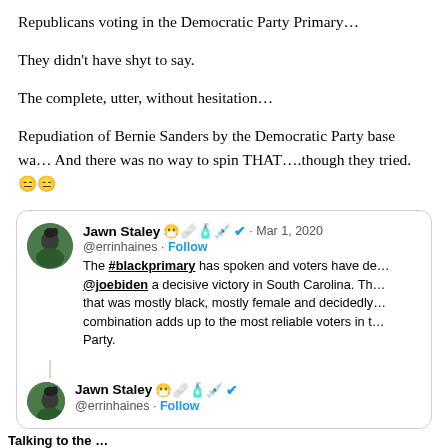Republicans voting in the Democratic Party Primary…
They didn't have shyt to say.
The complete, utter, without hesitation…
Repudiation of Bernie Sanders by the Democratic Party base wa… And there was no way to spin THAT….though they tried.😑😑
[Figure (screenshot): Embedded tweet from Jawn Staley (@errinhaines) dated Mar 1, 2020 with Follow button and verified badge. Tweet body: 'The #blackprimary has spoken and voters have de… @joebiden a decisive victory in South Carolina. Th… that was mostly black, mostly female and decidedly… combination adds up to the most reliable voters in t… Party.' Followed by a second tweet row from the same user with just the handle and Follow, and partial text 'Talking to the…']